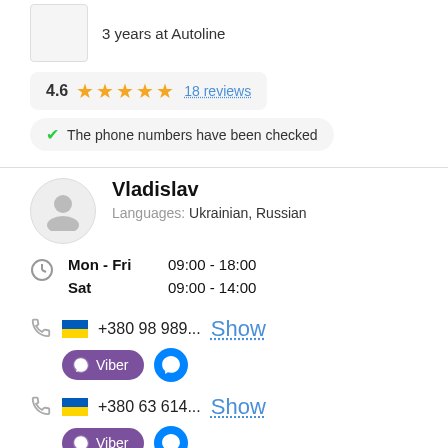3 years at Autoline
4.6 ★★★★★ 18 reviews
The phone numbers have been checked
Vladislav
Languages: Ukrainian, Russian
Mon - Fri 09:00 - 18:00
Sat 09:00 - 14:00
+380 98 989... Show
Viber
+380 63 614... Show
Viber